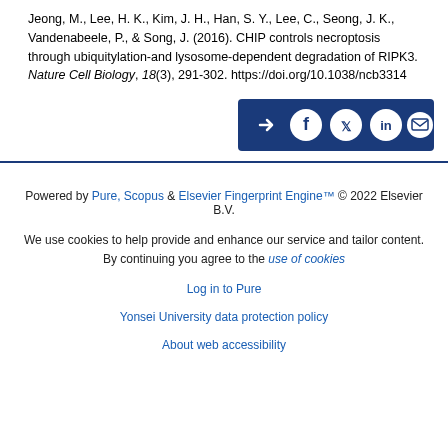Jeong, M., Lee, H. K., Kim, J. H., Han, S. Y., Lee, C., Seong, J. K., Vandenabeele, P., & Song, J. (2016). CHIP controls necroptosis through ubiquitylation-and lysosome-dependent degradation of RIPK3. Nature Cell Biology, 18(3), 291-302. https://doi.org/10.1038/ncb3314
[Figure (infographic): Social share bar with icons for share, Facebook, Twitter, LinkedIn, and email on a dark blue background]
Powered by Pure, Scopus & Elsevier Fingerprint Engine™ © 2022 Elsevier B.V.
We use cookies to help provide and enhance our service and tailor content. By continuing you agree to the use of cookies
Log in to Pure
Yonsei University data protection policy
About web accessibility